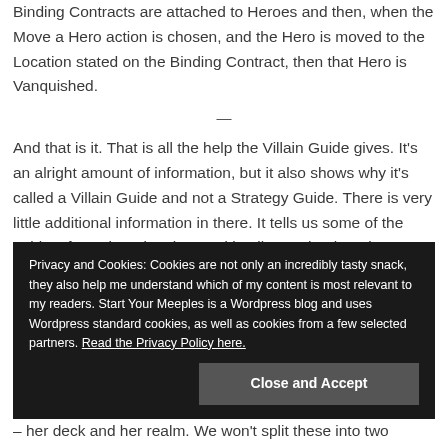Binding Contracts are attached to Heroes and then, when the Move a Hero action is chosen, and the Hero is moved to the Location stated on the Binding Contract, then that Hero is Vanquished.
—
And that is it. That is all the help the Villain Guide gives. It's an alright amount of information, but it also shows why it's called a Villain Guide and not a Strategy Guide. There is very little additional information in there. It tells us some of the quirks of Ursula's situation, and it tells us what her victory conditions
Privacy and Cookies: Cookies are not only an incredibly tasty snack, they also help me understand which of my content is most relevant to my readers. Start Your Meeples is a Wordpress blog and uses Wordpress standard cookies, as well as cookies from a few selected partners. Read the Privacy Policy here.
Close and Accept
– her deck and her realm. We won't split these into two